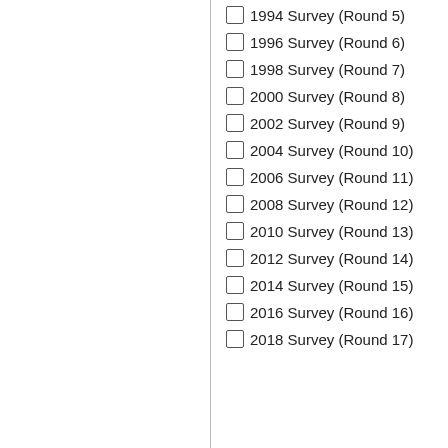1994 Survey (Round 5)
1996 Survey (Round 6)
1998 Survey (Round 7)
2000 Survey (Round 8)
2002 Survey (Round 9)
2004 Survey (Round 10)
2006 Survey (Round 11)
2008 Survey (Round 12)
2010 Survey (Round 13)
2012 Survey (Round 14)
2014 Survey (Round 15)
2016 Survey (Round 16)
2018 Survey (Round 17)